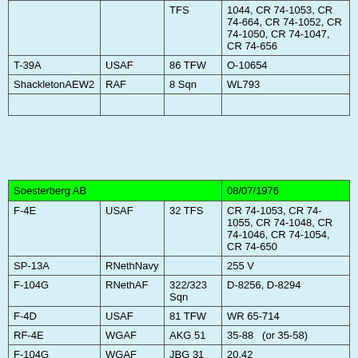|  |  | TFS | 1044, CR 74-1053, CR 74-664, CR 74-1052, CR 74-1050, CR 74-1047, CR 74-656 |
| T-39A | USAF | 86 TFW | O-10654 |
| ShackletonAEW2 | RAF | 8 Sqn | WL793 |
|  |  |  |  |
| Soesterberg AB |  |  | 08/07/1976 |
| --- | --- | --- | --- |
| F-4E | USAF | 32 TFS | CR 74-1053, CR 74-1055, CR 74-1048, CR 74-1046, CR 74-1054, CR 74-650 |
| SP-13A | RNethNavy |  | 255 V |
| F-104G | RNethAF | 322/323 Sqn | D-8256, D-8294 |
| F-4D | USAF | 81 TFW | WR 65-714 |
| RF-4E | WGAF | AKG 51 | 35-88   (or 35-58) |
| F-104G | WGAF | JBG 31 | 20,42 |